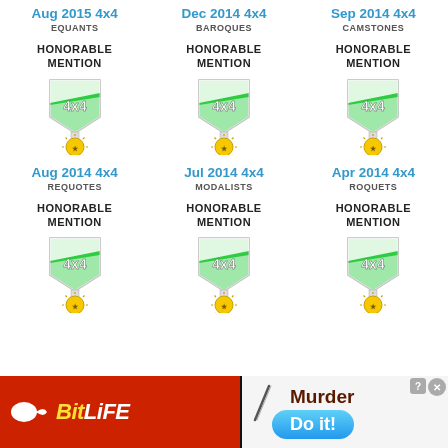Aug 2015 4x4
EQUANTS
HONORABLE MENTION
[Figure (illustration): 4x4 Honorable Mention medal badge with green and white shield and gold sunburst pendant]
Dec 2014 4x4
BAROQUES
HONORABLE MENTION
[Figure (illustration): 4x4 Honorable Mention medal badge with green and white shield and gold sunburst pendant]
Sep 2014 4x4
CAMSTONES
HONORABLE MENTION
[Figure (illustration): 4x4 Honorable Mention medal badge with green and white shield and gold sunburst pendant]
Aug 2014 4x4
REQUOTES
HONORABLE MENTION
[Figure (illustration): 4x4 Honorable Mention medal badge with green and white shield and gold sunburst pendant]
Jul 2014 4x4
MODALISTS
HONORABLE MENTION
[Figure (illustration): 4x4 Honorable Mention medal badge with green and white shield and gold sunburst pendant]
Apr 2014 4x4
ROQUETS
HONORABLE MENTION
[Figure (illustration): 4x4 Honorable Mention medal badge with green and white shield and gold sunburst pendant]
[Figure (advertisement): BitLife app advertisement banner with red background, white sperm logo, yellow and white BitLife text on left; Murder Do it! text and blue button on right]